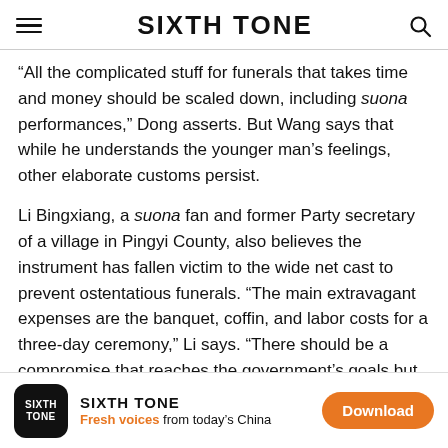SIXTH TONE
“All the complicated stuff for funerals that takes time and money should be scaled down, including suona performances,” Dong asserts. But Wang says that while he understands the younger man’s feelings, other elaborate customs persist.
Li Bingxiang, a suona fan and former Party secretary of a village in Pingyi County, also believes the instrument has fallen victim to the wide net cast to prevent ostentatious funerals. “The main extravagant expenses are the banquet, coffin, and labor costs for a three-day ceremony,” Li says. “There should be a compromise that reaches the government’s goals but also preserves traditions.”
SIXTH TONE — Fresh voices from today’s China — Download